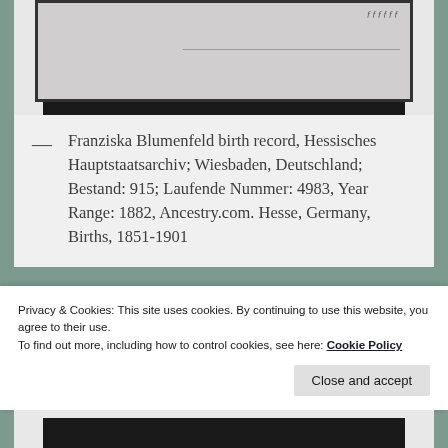[Figure (photo): Partial view of a historical document/birth record, showing a dark border and aged paper with faint handwriting and a signature line]
— Franziska Blumenfeld birth record, Hessisches Hauptstaatsarchiv; Wiesbaden, Deutschland; Bestand: 915; Laufende Nummer: 4983, Year Range: 1882, Ancestry.com. Hesse, Germany, Births, 1851-1901
Privacy & Cookies: This site uses cookies. By continuing to use this website, you agree to their use.
To find out more, including how to control cookies, see here: Cookie Policy
Close and accept